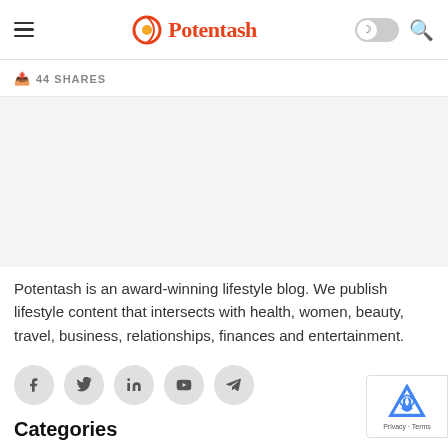Potentash — navigation header with hamburger menu, logo, dark mode toggle, and search icon
44 SHARES
[Figure (other): Gray placeholder/advertisement block]
Potentash is an award-winning lifestyle blog. We publish lifestyle content that intersects with health, women, beauty, travel, business, relationships, finances and entertainment.
[Figure (other): Social media icon buttons: Facebook, Twitter, LinkedIn, YouTube, Telegram]
Categories